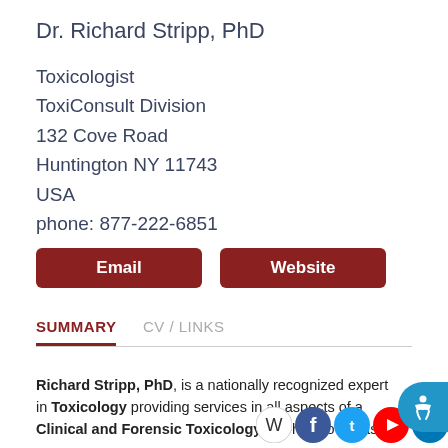Dr. Richard Stripp, PhD
Toxicologist
ToxiConsult Division
132 Cove Road
Huntington NY 11743
USA
phone: 877-222-6851
Email   Website
SUMMARY   CV / LINKS
Richard Stripp, PhD, is a nationally recognized expert in Toxicology providing services in all aspects of a Clinical and Forensic Toxicology. He has served as an expe...